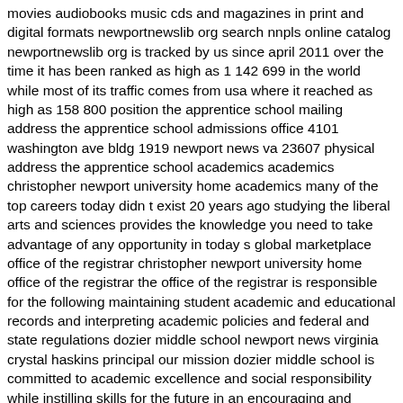movies audiobooks music cds and magazines in print and digital formats newportnewslib org search nnpls online catalog newportnewslib org is tracked by us since april 2011 over the time it has been ranked as high as 1 142 699 in the world while most of its traffic comes from usa where it reached as high as 158 800 position the apprentice school mailing address the apprentice school admissions office 4101 washington ave bldg 1919 newport news va 23607 physical address the apprentice school academics academics christopher newport university home academics many of the top careers today didn t exist 20 years ago studying the liberal arts and sciences provides the knowledge you need to take advantage of any opportunity in today s global marketplace office of the registrar christopher newport university home office of the registrar the office of the registrar is responsible for the following maintaining student academic and educational records and interpreting academic policies and federal and state regulations dozier middle school newport news virginia crystal haskins principal our mission dozier middle school is committed to academic excellence and social responsibility while instilling skills for the future in an encouraging and orderly environment warwick high school newport news virginia welcome to warwick high school home of the raiders course catalog msc software corporation address 4675 macarthur court newport beach ca 92660 phone 714 540 8900